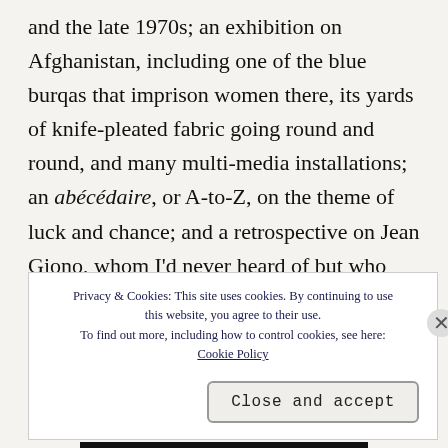and the late 1970s; an exhibition on Afghanistan, including one of the blue burqas that imprison women there, its yards of knife-pleated fabric going round and round, and many multi-media installations; an abécédaire, or A-to-Z, on the theme of luck and chance; and a retrospective on Jean Giono, whom I'd never heard of but who was a noted novelist whose experiences in World War I made him a pacifist to the point of being accused of
Privacy & Cookies: This site uses cookies. By continuing to use this website, you agree to their use. To find out more, including how to control cookies, see here: Cookie Policy